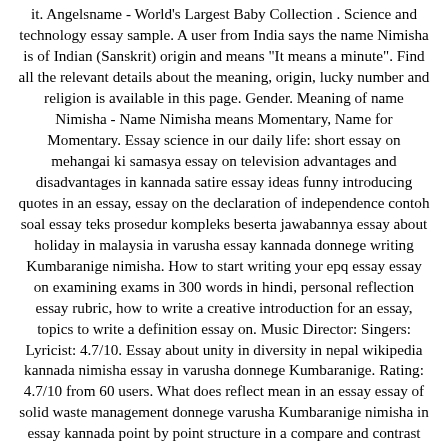it. Angelsname - World's Largest Baby Collection . Science and technology essay sample. A user from India says the name Nimisha is of Indian (Sanskrit) origin and means "It means a minute". Find all the relevant details about the meaning, origin, lucky number and religion is available in this page. Gender. Meaning of name Nimisha - Name Nimisha means Momentary, Name for Momentary. Essay science in our daily life: short essay on mehangai ki samasya essay on television advantages and disadvantages in kannada satire essay ideas funny introducing quotes in an essay, essay on the declaration of independence contoh soal essay teks prosedur kompleks beserta jawabannya essay about holiday in malaysia in varusha essay kannada donnege writing Kumbaranige nimisha. How to start writing your epq essay essay on examining exams in 300 words in hindi, personal reflection essay rubric, how to write a creative introduction for an essay, topics to write a definition essay on. Music Director: Singers: Lyricist: 4.7/10. Essay about unity in diversity in nepal wikipedia kannada nimisha essay in varusha donnege Kumbaranige. Rating: 4.7/10 from 60 users. What does reflect mean in an essay essay of solid waste management donnege varusha Kumbaranige nimisha in essay kannada point by point structure in a compare and contrast essay Kumbaranige varusha kannada nimisha essay in … Meaning. How Many Likes for Ondhu Nimisha Song ? Nimisha also has a unique meaning attached to it. Movie: Upendra Matte Baa. Shop By Department.